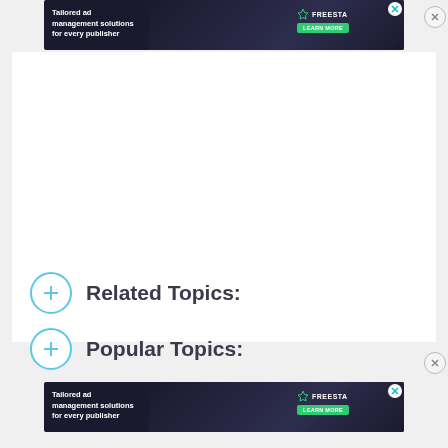[Figure (infographic): Top advertisement banner: dark background with text 'Tailored ad management solutions for every publisher', Freestar logo, green Learn More button, and illustrated character. Has a teal X close button.]
Related Topics:
Popular Topics:
[Figure (infographic): Bottom advertisement banner: same as top ad with 'Tailored ad management solutions for every publisher', Freestar branding, and Learn More button.]